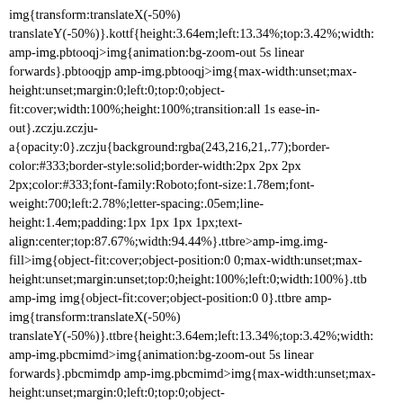img{transform:translateX(-50%) translateY(-50%)}.kottf{height:3.64em;left:13.34%;top:3.42%;width: amp-img.pbtooqj>img{animation:bg-zoom-out 5s linear forwards}.pbtooqjp amp-img.pbtooqj>img{max-width:unset;max-height:unset;margin:0;left:0;top:0;object-fit:cover;width:100%;height:100%;transition:all 1s ease-in-out}.zczju.zczju-a{opacity:0}.zczju{background:rgba(243,216,21,.77);border-color:#333;border-style:solid;border-width:2px 2px 2px 2px;color:#333;font-family:Roboto;font-size:1.78em;font-weight:700;left:2.78%;letter-spacing:.05em;line-height:1.4em;padding:1px 1px 1px 1px;text-align:center;top:87.67%;width:94.44%}.ttbre>amp-img.img-fill>img{object-fit:cover;object-position:0 0;max-width:unset;max-height:unset;margin:unset;top:0;height:100%;left:0;width:100%}.ttb amp-img img{object-fit:cover;object-position:0 0}.ttbre amp-img{transform:translateX(-50%) translateY(-50%)}.ttbre{height:3.64em;left:13.34%;top:3.42%;width: amp-img.pbcmimd>img{animation:bg-zoom-out 5s linear forwards}.pbcmimdp amp-img.pbcmimd>img{max-width:unset;max-height:unset;margin:0;left:0;top:0;object-fit:cover;width:100%;height:100%;transition:all 1s ease-in-out}.rlplk.rlplk-a{opacity:0}.rlplk{background:rgba(243,216,21,.77);border-color:#333;border-style:solid;border-width:2px 2px 2px